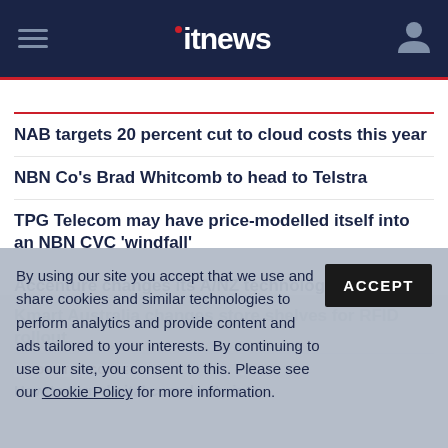itnews
NAB targets 20 percent cut to cloud costs this year
NBN Co's Brad Whitcomb to head to Telstra
TPG Telecom may have price-modelled itself into an NBN CVC 'windfall'
Accenture changes its A/NZ technology leader
Kmart Australia changes store shelves for RFID rollout
By using our site you accept that we use and share cookies and similar technologies to perform analytics and provide content and ads tailored to your interests. By continuing to use our site, you consent to this. Please see our Cookie Policy for more information.
PROMOTED CONTENT
How to turn digital complexity into